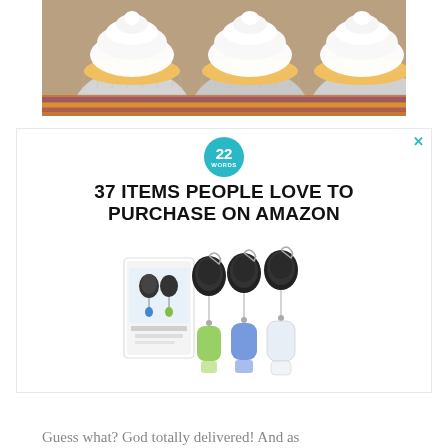[Figure (photo): Three vanilla cupcakes with white frosting in silver foil wrappers on a baking tray, close-up photo from above-angle]
[Figure (infographic): Advertisement for '37 Items People Love to Purchase on Amazon' featuring a 22 Words logo circle and product image of retractable badge reel silicone travel bottle keychain set in green, blue, and clear]
Guess what? God totally delivered! And as